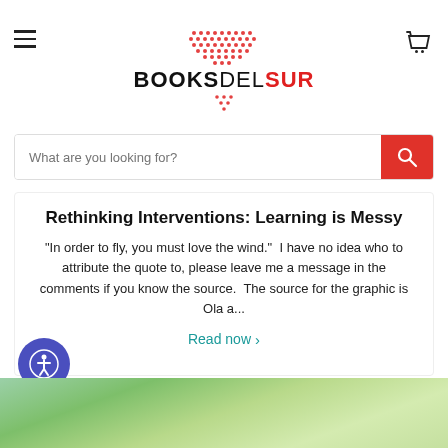BOOKSDELSUR
What are you looking for?
Rethinking Interventions: Learning is Messy
"In order to fly, you must love the wind."  I have no idea who to attribute the quote to, please leave me a message in the comments if you know the source.  The source for the graphic is Ola a...
Read now >
[Figure (photo): Close-up photo of hands with green/colorful materials, shown at the bottom of the page]